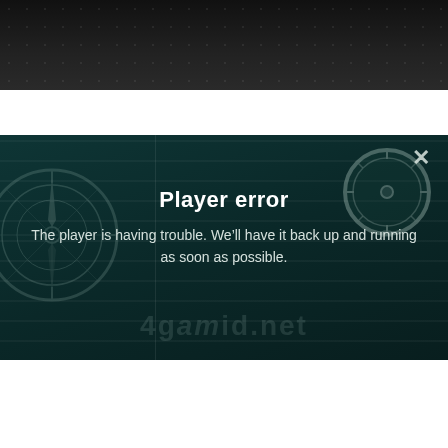[Figure (screenshot): Dark top banner with subtle dot pattern, resembling a game/video interface header]
[Figure (screenshot): Dark teal dialog box with a close X button, compass/wheel watermarks, horizontal stripe background, a vertical divider line, and an error message overlay]
Player error
The player is having trouble. We’ll have it back up and running as soon as possible.